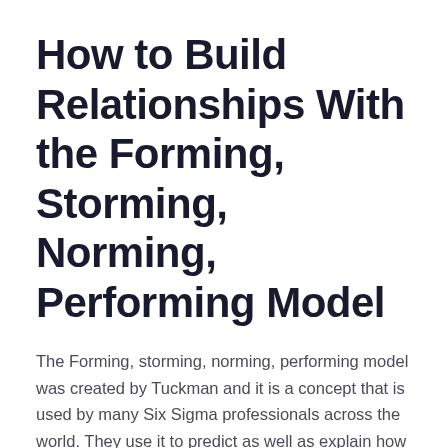How to Build Relationships With the Forming, Storming, Norming, Performing Model
The Forming, storming, norming, performing model was created by Tuckman and it is a concept that is used by many Six Sigma professionals across the world. They use it to predict as well as explain how their team is performing. Each of the stages are important and